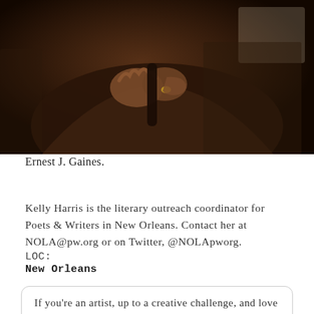[Figure (photo): Close-up photograph of Ernest J. Gaines, an elderly Black man seated, with hands folded over a cane or dark surface, wearing a brown jacket, with a gold ring/watch visible. Dark background.]
Ernest J. Gaines.
Kelly Harris is the literary outreach coordinator for Poets & Writers in New Orleans. Contact her at NOLA@pw.org or on Twitter, @NOLApworg.
LOC:
New Orleans
If you're an artist, up to a creative challenge, and love this story, enter your email here. Click here for more info.